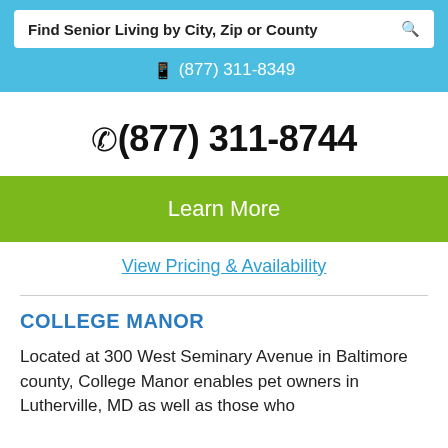Find Senior Living by City, Zip or County
(877) 311-8349
(877) 311-8744
Learn More
View Pricing & Availability
COLLEGE MANOR
Located at 300 West Seminary Avenue in Baltimore county, College Manor enables pet owners in Lutherville, MD as well as those who